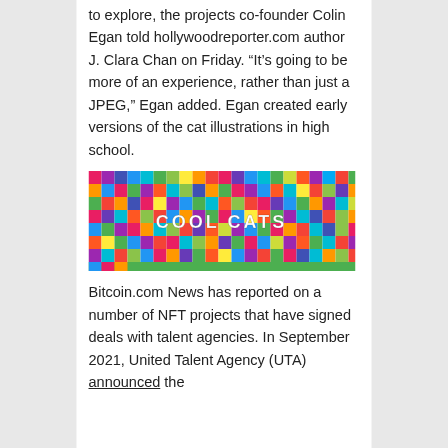to explore, the projects co-founder Colin Egan told hollywoodreporter.com author J. Clara Chan on Friday. “It’s going to be more of an experience, rather than just a JPEG,” Egan added. Egan created early versions of the cat illustrations in high school.
[Figure (illustration): Cool Cats NFT banner image showing a colorful grid of cartoon cat illustrations with 'COOL CATS' text in white bold letters in the center]
Bitcoin.com News has reported on a number of NFT projects that have signed deals with talent agencies. In September 2021, United Talent Agency (UTA) announced the